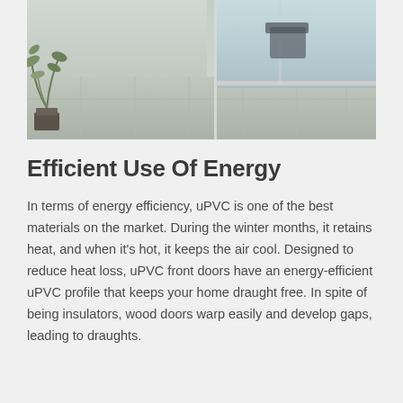[Figure (photo): Outdoor patio with large stone tiles, potted plant on the left, and large glass sliding door on the right side. Modern home exterior.]
Efficient Use Of Energy
In terms of energy efficiency, uPVC is one of the best materials on the market. During the winter months, it retains heat, and when it's hot, it keeps the air cool. Designed to reduce heat loss, uPVC front doors have an energy-efficient uPVC profile that keeps your home draught free. In spite of being insulators, wood doors warp easily and develop gaps, leading to draughts.